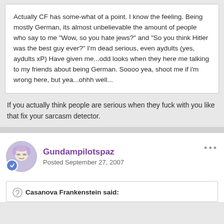Actually CF has some-what of a point. I know the feeling. Being mostly German, its almost unbelievable the amount of people who say to me "Wow, so you hate jews?" and "So you think Hitler was the best guy ever?" I'm dead serious, even aydults (yes, aydults xP) Have given me...odd looks when they here me talking to my friends about being German. Soooo yea, shoot me if i'm wrong here, but yea...ohhh well...
If you actually think people are serious when they fuck with you like that fix your sarcasm detector.
Gundampilotspaz
Posted September 27, 2007
Casanova Frankenstein said: